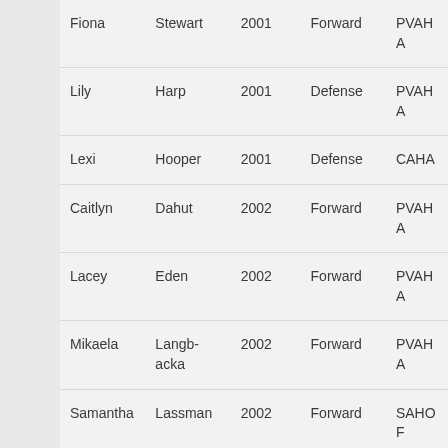| Fiona | Stewart | 2001 | Forward | PVAHA |
| Lily | Harp | 2001 | Defense | PVAHA |
| Lexi | Hooper | 2001 | Defense | CAHA |
| Caitlyn | Dahut | 2002 | Forward | PVAHA |
| Lacey | Eden | 2002 | Forward | PVAHA |
| Mikaela | Langbacka | 2002 | Forward | PVAHA |
| Samantha | Lassman | 2002 | Forward | SAHOF |
| Lia | Poggio | 2002 | Forward | SAHA |
|  | Rupert |  |  |  |